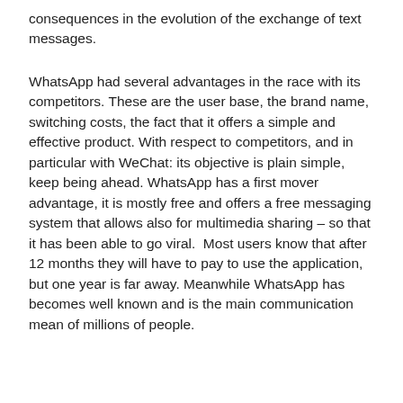consequences in the evolution of the exchange of text messages.
WhatsApp had several advantages in the race with its competitors. These are the user base, the brand name, switching costs, the fact that it offers a simple and effective product. With respect to competitors, and in particular with WeChat: its objective is plain simple, keep being ahead. WhatsApp has a first mover advantage, it is mostly free and offers a free messaging system that allows also for multimedia sharing – so that it has been able to go viral.  Most users know that after 12 months they will have to pay to use the application, but one year is far away. Meanwhile WhatsApp has becomes well known and is the main communication mean of millions of people.